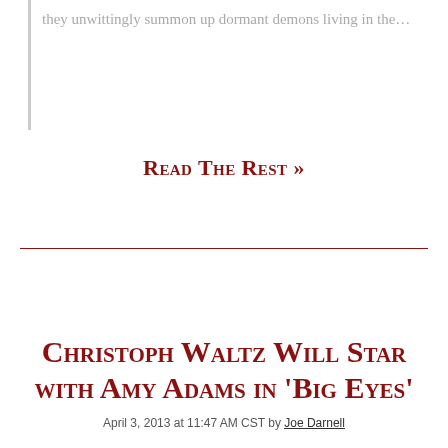they unwittingly summon up dormant demons living in the…
Read The Rest »
Christoph Waltz Will Star with Amy Adams in 'Big Eyes'
April 3, 2013 at 11:47 AM CST by Joe Darnell